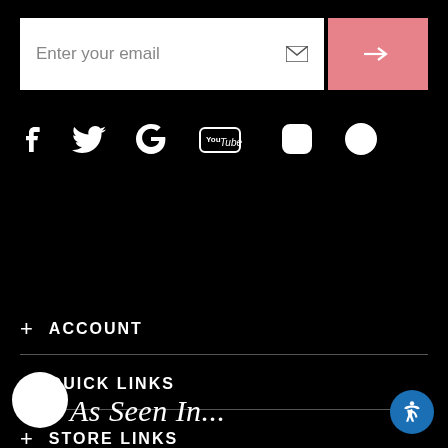[Figure (screenshot): Email subscription input bar with white text field showing 'Enter your email' and envelope icon, and pink submit button with arrow]
[Figure (infographic): Social media icons row: Facebook, Twitter, Google, YouTube, Instagram, Pinterest — white on black]
+ ACCOUNT
+ QUICK LINKS
+ STORE LINKS
+ CONTACT US
As Seen In...